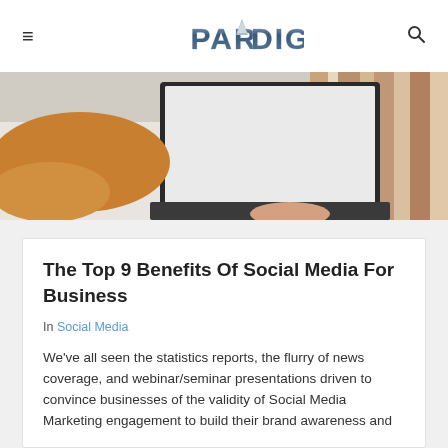≡  PARADIGM  🔍
[Figure (photo): Overhead view of a person in an orange top using a laptop on a white desk near a striped surface]
The Top 9 Benefits Of Social Media For Business
In Social Media
We've all seen the statistics reports, the flurry of news coverage, and webinar/seminar presentations driven to convince businesses of the validity of Social Media Marketing engagement to build their brand awareness and...